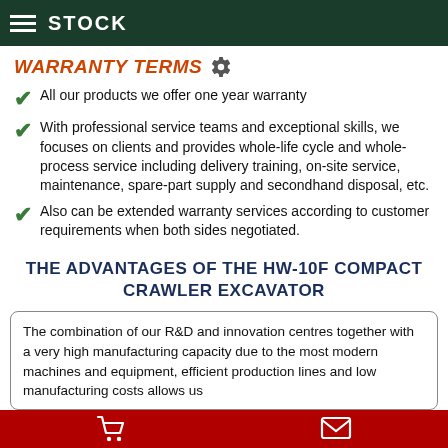STOCK
WARRANTY TERMS
All our products we offer one year warranty
With professional service teams and exceptional skills, we focuses on clients and provides whole-life cycle and whole-process service including delivery training, on-site service, maintenance, spare-part supply and secondhand disposal, etc.
Also can be extended warranty services according to customer requirements when both sides negotiated.
THE ADVANTAGES OF THE HW-10F COMPACT CRAWLER EXCAVATOR
The combination of our R&D and innovation centres together with a very high manufacturing capacity due to the most modern machines and equipment, efficient production lines and low manufacturing costs allows us